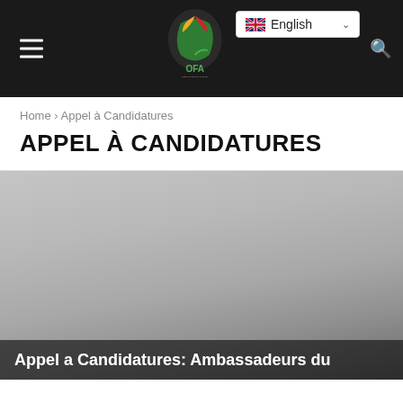OFA — English language selector, navigation bar
Home › Appel à Candidatures
APPEL À CANDIDATURES
[Figure (photo): Grey gradient background image with white text overlay at the bottom reading: Appel a Candidatures: Ambassadeurs du]
Appel a Candidatures: Ambassadeurs du